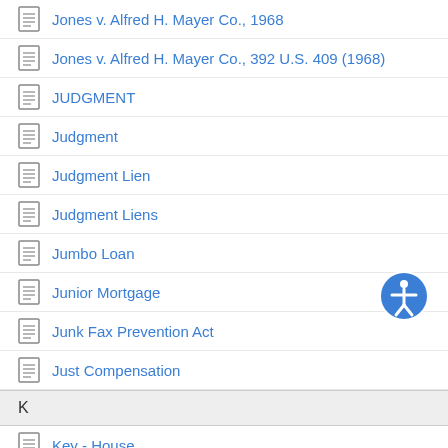Jones v. Alfred H. Mayer Co., 1968
Jones v. Alfred H. Mayer Co., 392 U.S. 409 (1968)
JUDGMENT
Judgment
Judgment Lien
Judgment Liens
Jumbo Loan
Junior Mortgage
Junk Fax Prevention Act
Just Compensation
K
Key - House